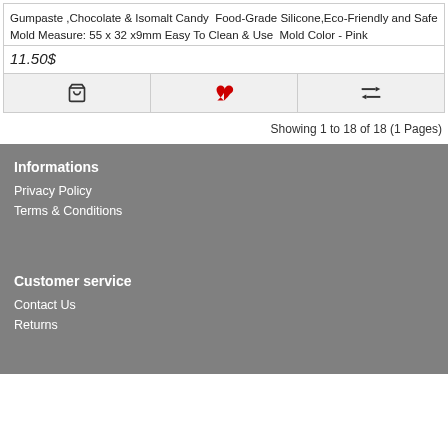Gumpaste ,Chocolate & Isomalt Candy Food-Grade Silicone,Eco-Friendly and Safe Mold Measure: 55 x 32 x9mm Easy To Clean & Use Mold Color - Pink
11.50$
Showing 1 to 18 of 18 (1 Pages)
Informations
Privacy Policy
Terms & Conditions
Customer service
Contact Us
Returns